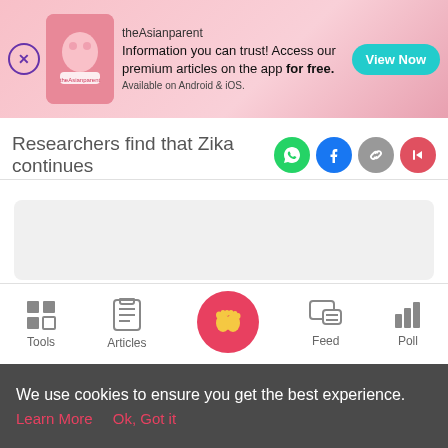[Figure (screenshot): theAsianparent app advertisement banner with close button, logo, tagline text and View Now button]
Researchers find that Zika continues
[Figure (infographic): Social share icons: WhatsApp (green), Facebook (blue), link (grey), forward (red)]
[Figure (other): Grey placeholder content box 1]
[Figure (other): White card with inner grey placeholder content box 2]
[Figure (infographic): Bottom navigation bar with Tools, Articles, home (baby feet circle), Feed, Poll icons]
We use cookies to ensure you get the best experience.
Learn More   Ok, Got it